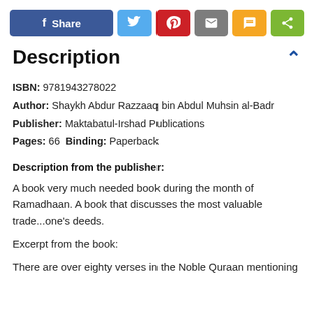[Figure (infographic): Social share buttons row: Facebook Share (blue), Twitter (light blue), Pinterest (red), Email (gray), SMS (yellow/orange), Share (green)]
Description
ISBN: 9781943278022
Author: Shaykh Abdur Razzaaq bin Abdul Muhsin al-Badr
Publisher: Maktabatul-Irshad Publications
Pages: 66 Binding: Paperback
Description from the publisher:
A book very much needed book during the month of Ramadhaan. A book that discusses the most valuable trade...one's deeds.
Excerpt from the book:
There are over eighty verses in the Noble Quraan mentioning